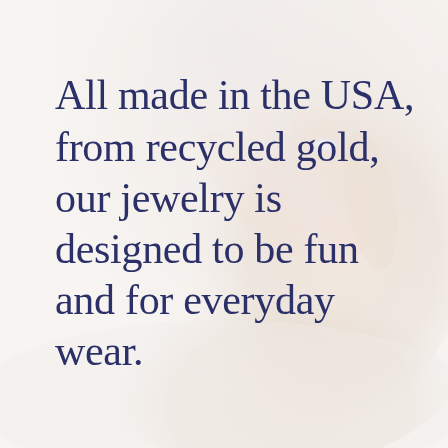[Figure (photo): A woman's hands wearing a diamond ring, resting on white fabric, soft muted tones, used as background image]
All made in the USA, from recycled gold, our jewelry is designed to be fun and for everyday wear.